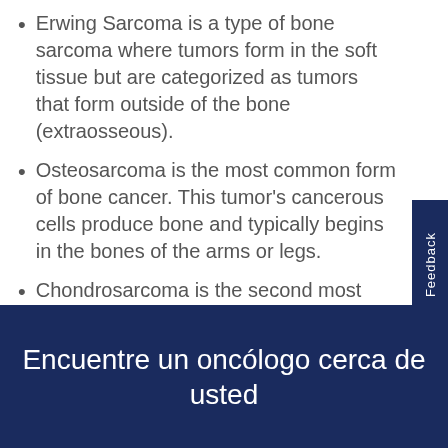Erwing Sarcoma is a type of bone sarcoma where tumors form in the soft tissue but are categorized as tumors that form outside of the bone (extraosseous).
Osteosarcoma is the most common form of bone cancer. This tumor's cancerous cells produce bone and typically begins in the bones of the arms or legs.
Chondrosarcoma is the second most common type of bone cancer found in the cells that produce cartilage.
Encuentre un oncólogo cerca de usted